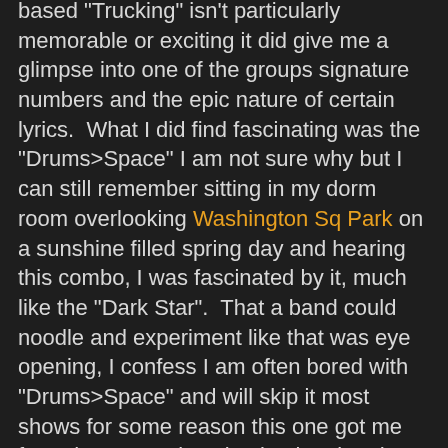based "Trucking" isn't particularly memorable or exciting it did give me a glimpse into one of the groups signature numbers and the epic nature of certain lyrics.  What I did find fascinating was the "Drums>Space" I am not sure why but I can still remember sitting in my dorm room overlooking Washington Sq Park on a sunshine filled spring day and hearing this combo, I was fascinated by it, much like the "Dark Star".  That a band could noodle and experiment like that was eye opening, I confess I am often bored with "Drums>Space" and will skip it most shows for some reason this one got me from the start.  Listening back to it today the Drum section is nothing really special until maybe the end couple of minutes and the Space has it's freaky moments, but the word that keeps coming to mind is overindulgent...I know I wasn't high back in freshman year, but my mind must have been somewhere else entirely.
Anyway...umm when they come back into the out of nowhere "Playing In the Band Reprise" that is still really triumphant and a neat twist.  No idea where this came from, but it is a blast of music before my first experience of a Jerry ballad with "Standing on the Moon".  Quite affecting this version like